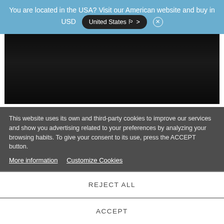You are located in the USA? Visit our American website and buy in USD   United States >   ×
[Figure (photo): Black fabric swatch sample showing dark textile material]
MC710
Black
Fabric DREAM - Total Blackout
This website uses its own and third-party cookies to improve our services and show you advertising related to your preferences by analyzing your browsing habits. To give your consent to its use, press the ACCEPT button.
More information   Customize Cookies
REJECT ALL
ACCEPT